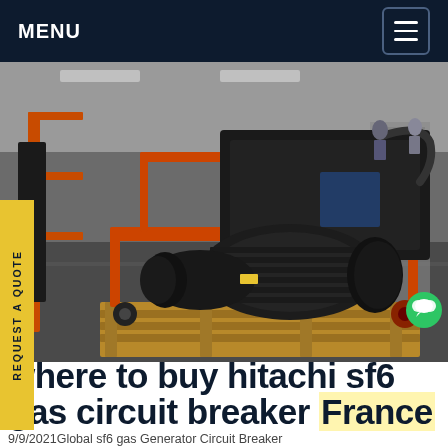MENU
[Figure (photo): Industrial SF6 gas circuit breaker equipment — a large black motor/compressor unit mounted on an orange steel frame on casters/wheels, sitting on a wooden pallet, inside a factory/warehouse setting. Orange rack structures and industrial equipment visible in background.]
where to buy hitachi sf6 gas circuit breaker France
9/9/2021Global sf6 gas Generator Circuit Breaker